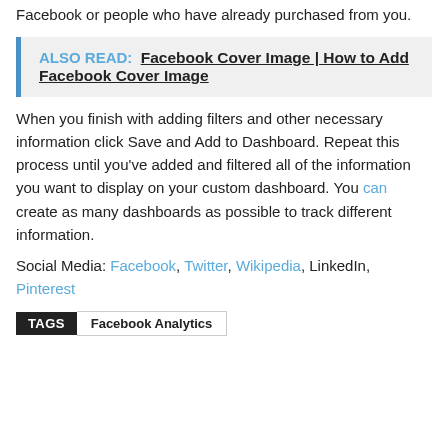Facebook or people who have already purchased from you.
ALSO READ:  Facebook Cover Image | How to Add Facebook Cover Image
When you finish with adding filters and other necessary information click Save and Add to Dashboard. Repeat this process until you've added and filtered all of the information you want to display on your custom dashboard. You can create as many dashboards as possible to track different information.
Social Media: Facebook, Twitter, Wikipedia, LinkedIn, Pinterest
TAGS  Facebook Analytics